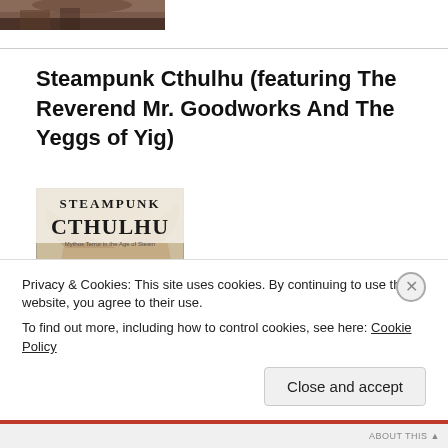[Figure (photo): Partial image at top of page, dark brown tones, appears to be a person or figure cropped]
Steampunk Cthulhu (featuring The Reverend Mr. Goodworks And The Yeggs of Yig)
[Figure (illustration): Book cover for Steampunk Cthulhu showing a large Cthulhu tentacled creature over a steampunk cityscape with Big Ben, with text 'STEAMPUNK CTHULHU' and subtitle 'Mythos Terror in the Age of Steam']
Privacy & Cookies: This site uses cookies. By continuing to use this website, you agree to their use.
To find out more, including how to control cookies, see here: Cookie Policy
Close and accept